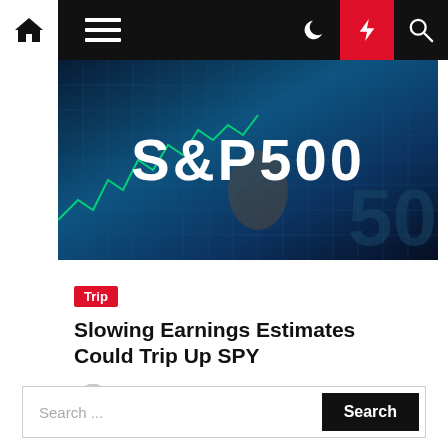Navigation bar with home, menu, moon, lightning, and search icons
[Figure (photo): S&P500 financial background image with stock chart grid overlay and bold white S&P500 text]
Trip
Slowing Earnings Estimates Could Trip Up SPY
Nichole S. Gehr  5 months ago
Search ...